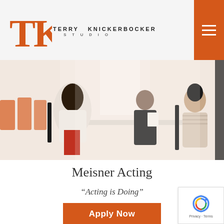[Figure (logo): Terry Knickerbocker Studio logo with TK monogram in orange and studio name in serif caps]
[Figure (photo): Three people in an acting studio rehearsal scene: two women and one man seated around a table, one woman holding script pages, orange chairs visible in background]
Meisner Acting
“Acting is Doing”
[Figure (other): Apply Now button in orange]